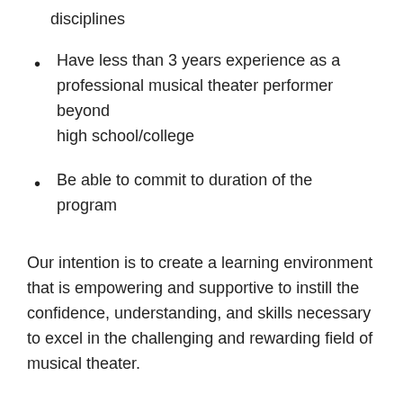disciplines
Have less than 3 years experience as a professional musical theater performer beyond high school/college
Be able to commit to duration of the program
Our intention is to create a learning environment that is empowering and supportive to instill the confidence, understanding, and skills necessary to excel in the challenging and rewarding field of musical theater.
In addition to the eligibility guidelines, interested applicants should: